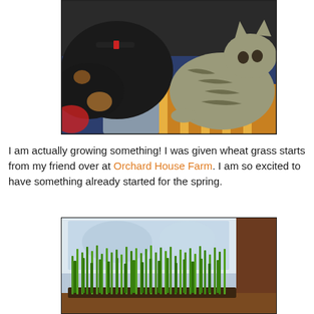[Figure (photo): A dog and a tabby cat resting together on colorful bedding. The black dog wears a collar and the striped cat appears to be touching the dog with its paw.]
I am actually growing something! I was given wheat grass starts from my friend over at Orchard House Farm. I am so excited to have something already started for the spring.
[Figure (photo): A tray of bright green wheat grass growing on a windowsill, with a blurred outdoor scene visible through the window behind it.]